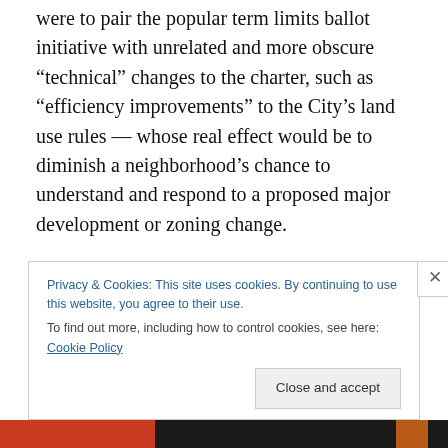were to pair the popular term limits ballot initiative with unrelated and more obscure “technical” changes to the charter, such as “efficiency improvements” to the City’s land use rules — whose real effect would be to diminish a neighborhood’s chance to understand and respond to a proposed major development or zoning change.
The Times is right — although not necessarily for all the right reasons. The charter revision timetable needs to be extended to 2012. There should be no proposals on the ballot this year.
Privacy & Cookies: This site uses cookies. By continuing to use this website, you agree to their use. To find out more, including how to control cookies, see here: Cookie Policy
Close and accept